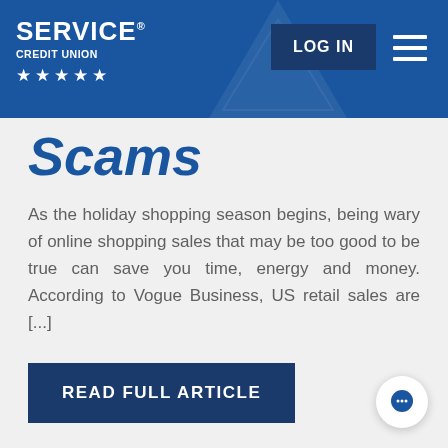SERVICE CREDIT UNION ★★★★★ | LOG IN | Menu
Scams
As the holiday shopping season begins, being wary of online shopping sales that may be too good to be true can save you time, energy and money. According to Vogue Business, US retail sales are [...]
READ FULL ARTICLE